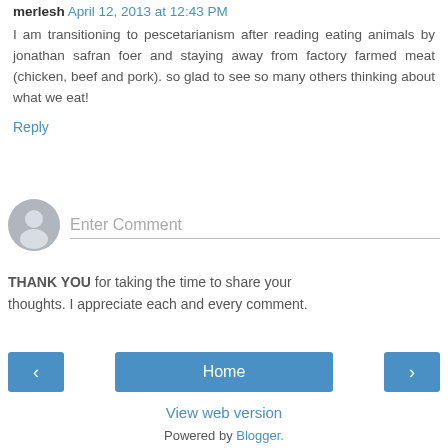merlesh April 12, 2013 at 12:43 PM
I am transitioning to pescetarianism after reading eating animals by jonathan safran foer and staying away from factory farmed meat (chicken, beef and pork). so glad to see so many others thinking about what we eat!
Reply
Enter Comment
THANK YOU for taking the time to share your thoughts. I appreciate each and every comment.
< Home > View web version Powered by Blogger.